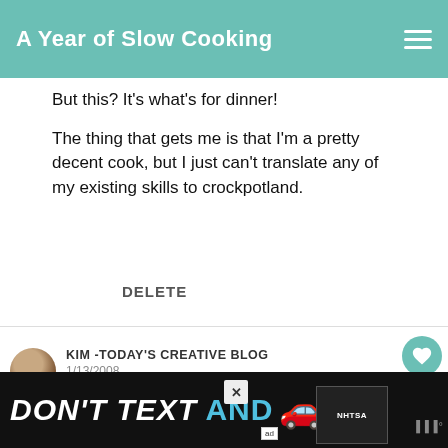A Year of Slow Cooking
But this? It's what's for dinner!
The thing that gets me is that I'm a pretty decent cook, but I just can't translate any of my existing skills to crockpotland.
DELETE
KIM -TODAY'S CREATIVE BLOG
1/13/2008
I LOVE hot and sour soup too! Especially when I have a cold. And yes, I recommend the Neti pot. Really. It's not as bad as you imagine. Just
WHAT'S NEXT → The CrockPot Diet
[Figure (other): Ad banner: DON'T TEXT AND [car emoji] with NHTSA branding]